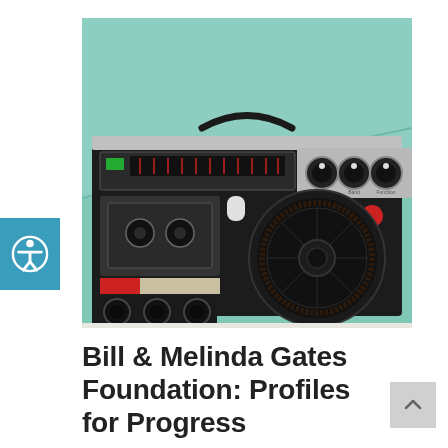[Figure (photo): Close-up photograph of a vintage boombox/radio cassette player against a mint green background. The device is black with silver accents, showing the tuner display, three large control knobs labeled Tuning, Band, Function, a cassette deck on the left, a large circular speaker grille on the right, and a red button. The bottom portion shows speaker components.]
Bill & Melinda Gates Foundation: Profiles for Progress